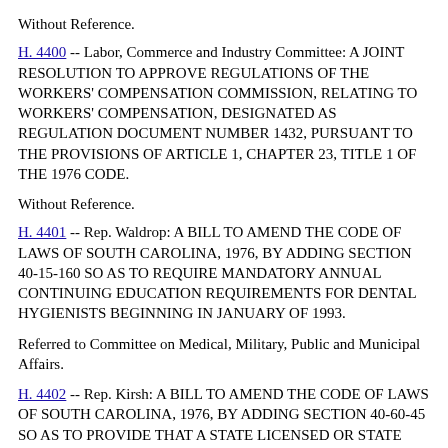Without Reference.
H. 4400 -- Labor, Commerce and Industry Committee: A JOINT RESOLUTION TO APPROVE REGULATIONS OF THE WORKERS' COMPENSATION COMMISSION, RELATING TO WORKERS' COMPENSATION, DESIGNATED AS REGULATION DOCUMENT NUMBER 1432, PURSUANT TO THE PROVISIONS OF ARTICLE 1, CHAPTER 23, TITLE 1 OF THE 1976 CODE.
Without Reference.
H. 4401 -- Rep. Waldrop: A BILL TO AMEND THE CODE OF LAWS OF SOUTH CAROLINA, 1976, BY ADDING SECTION 40-15-160 SO AS TO REQUIRE MANDATORY ANNUAL CONTINUING EDUCATION REQUIREMENTS FOR DENTAL HYGIENISTS BEGINNING IN JANUARY OF 1993.
Referred to Committee on Medical, Military, Public and Municipal Affairs.
H. 4402 -- Rep. Kirsh: A BILL TO AMEND THE CODE OF LAWS OF SOUTH CAROLINA, 1976, BY ADDING SECTION 40-60-45 SO AS TO PROVIDE THAT A STATE LICENSED OR STATE CERTIFIED REAL ESTATE APPRAISER IS NOT